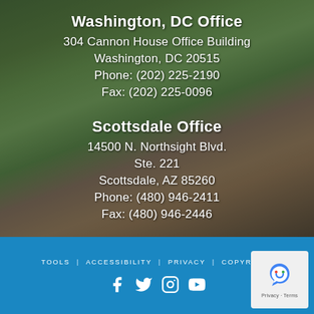Washington, DC Office
304 Cannon House Office Building
Washington, DC 20515
Phone: (202) 225-2190
Fax: (202) 225-0096
Scottsdale Office
14500 N. Northsight Blvd.
Ste. 221
Scottsdale, AZ 85260
Phone: (480) 946-2411
Fax: (480) 946-2446
TOOLS | ACCESSIBILITY | PRIVACY | COPYRIGHT